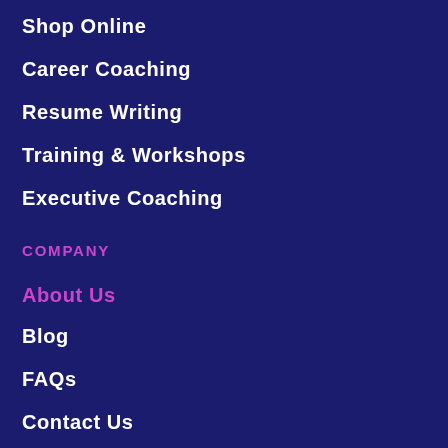Shop Online
Career Coaching
Resume Writing
Training & Workshops
Executive Coaching
COMPANY
About Us
Blog
FAQs
Contact Us
Project Agreement
Terms and Conditions
Privacy Policy